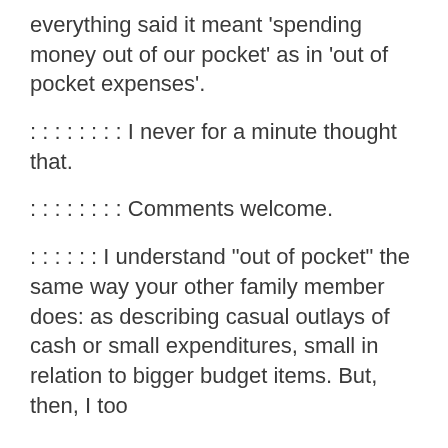everything said it meant 'spending money out of our pocket' as in 'out of pocket expenses'.
: : : : : : : : I never for a minute thought that.
: : : : : : : : Comments welcome.
: : : : : : I understand "out of pocket" the same way your other family member does: as describing casual outlays of cash or small expenditures, small in relation to bigger budget items. But, then, I too